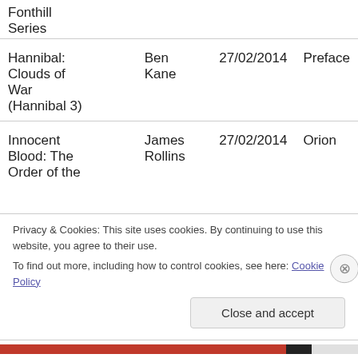| Title | Author | Date | Publisher |
| --- | --- | --- | --- |
| Fonthill Series |  |  |  |
| Hannibal: Clouds of War (Hannibal 3) | Ben Kane | 27/02/2014 | Preface |
| Innocent Blood: The Order of the | James Rollins | 27/02/2014 | Orion |
Privacy & Cookies: This site uses cookies. By continuing to use this website, you agree to their use.
To find out more, including how to control cookies, see here: Cookie Policy